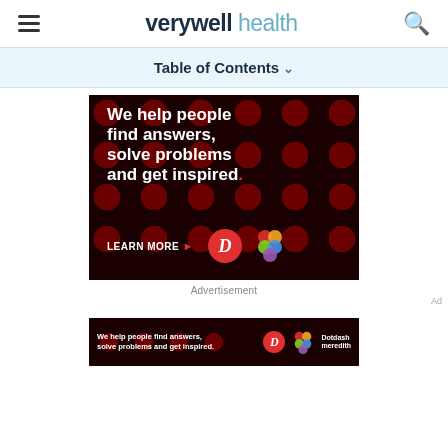verywell health
Table of Contents
[Figure (illustration): Dotdash advertisement on dark background with polka dot pattern: 'We help people find answers, solve problems and get inspired.' with LEARN MORE button, Dotdash D logo and Meredith colorful knot logo]
Advertisement
[Figure (illustration): Bottom banner: Dotdash Meredith advertisement - 'We help people find answers, solve problems and inspired.' with D logo and Dotdash meredith logo]